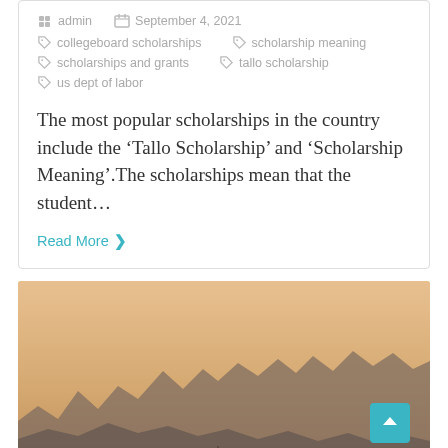admin  September 4, 2021
collegeboard scholarships
scholarship meaning
scholarships and grants
tallo scholarship
us dept of labor
The most popular scholarships in the country include the ‘Tallo Scholarship’ and ‘Scholarship Meaning’.The scholarships mean that the student…
Read More
[Figure (photo): Landscape photo showing a hazy sunset or sunrise with silhouettes of mountains or hills in the foreground against an orange/peach sky]